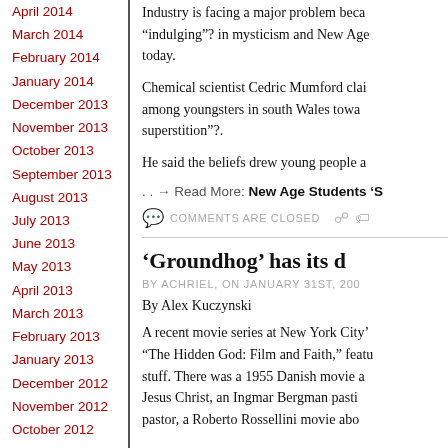April 2014
March 2014
February 2014
January 2014
December 2013
November 2013
October 2013
September 2013
August 2013
July 2013
June 2013
May 2013
April 2013
March 2013
February 2013
January 2013
December 2012
November 2012
October 2012
September 2012
August 2012
Industry is facing a major problem beca... “indulging”? in mysticism and New Age... today.
Chemical scientist Cedric Mumford clai... among youngsters in south Wales towa... superstition”?.
He said the beliefs drew young people a...
. . → Read More: New Age Students ‘S...
COMMENTS ARE CLOSED
‘Groundhog’ has its d...
BY ACHRIEL, ON JANUARY 31ST, 200...
By Alex Kuczynski
A recent movie series at New York City’... “The Hidden God: Film and Faith,” featu... stuff. There was a 1955 Danish movie a... Jesus Christ, an Ingmar Bergman pasti... pastor, a Roberto Rossellini movie abo...